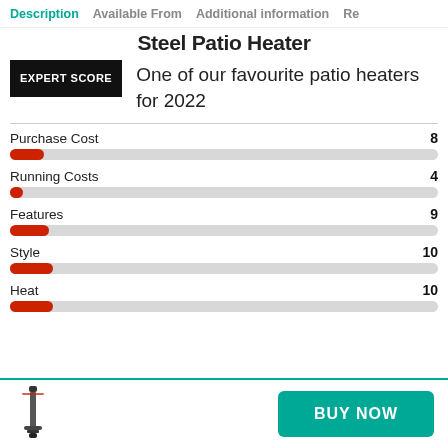Description | Available From | Additional information | Re
Steel Patio Heater
[Figure (other): Expert Score badge — black rectangle with white bold text reading EXPERT SCORE]
One of our favourite patio heaters for 2022
[Figure (bar-chart): Expert Scores]
[Figure (photo): Small thumbnail image of a tall cylindrical patio heater standing on a base]
BUY NOW